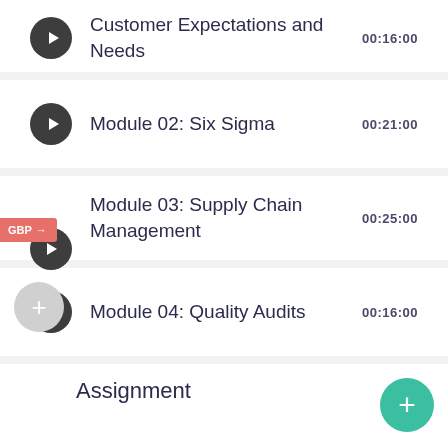Customer Expectations and Needs  00:16:00
Module 02: Six Sigma  00:21:00
Module 03: Supply Chain Management  00:25:00
Module 04: Quality Audits  00:16:00
Assignment